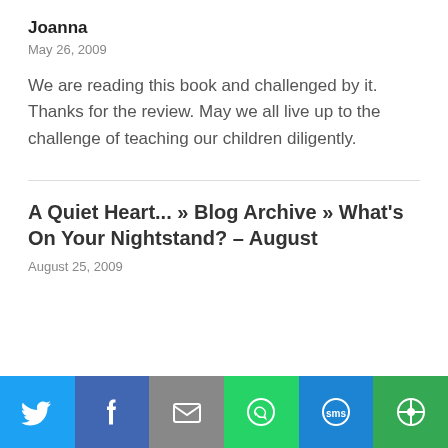Joanna
May 26, 2009
We are reading this book and challenged by it. Thanks for the review. May we all live up to the challenge of teaching our children diligently.
A Quiet Heart... » Blog Archive » What's On Your Nightstand? – August
August 25, 2009